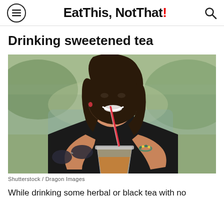Eat This, Not That!
Drinking sweetened tea
[Figure (photo): Young woman in black tank top smiling and drinking iced tea through a red straw from a plastic cup, holding sunglasses, wearing a beaded bracelet, outdoors with blurred green background]
Shutterstock / Dragon Images
While drinking some herbal or black tea with no